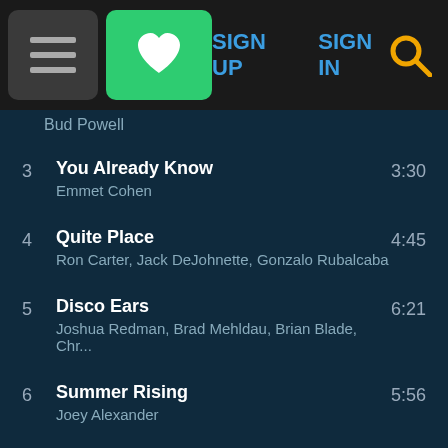[Figure (screenshot): Navigation bar with hamburger menu, green heart button, SIGN UP and SIGN IN links, and search icon]
| # | Title / Artist | Duration |
| --- | --- | --- |
|  | Bud Powell |  |
| 3 | You Already Know
Emmet Cohen | 3:30 |
| 4 | Quite Place
Ron Carter, Jack DeJohnette, Gonzalo Rubalcaba | 4:45 |
| 5 | Disco Ears
Joshua Redman, Brad Mehldau, Brian Blade, Chr... | 6:21 |
| 6 | Summer Rising
Joey Alexander | 5:56 |
| 7 | Emlilweni | 6:33 |
[Figure (screenshot): Shop Amazon button (blue rounded rectangle with downward pointing arrow) and Search Amazon input bar]
Search Amazon